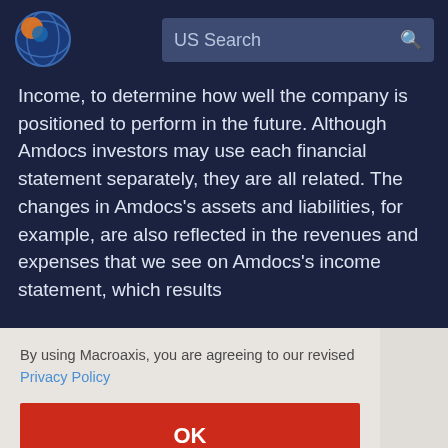[Figure (logo): Macroaxis globe logo with blue and orange colors]
US Search
Income, to determine how well the company is positioned to perform in the future. Although Amdocs investors may use each financial statement separately, they are all related. The changes in Amdocs's assets and liabilities, for example, are also reflected in the revenues and expenses that we see on Amdocs's income statement, which results in ... provide ... sheet, ... the ... c ... right ... read more on our technical analysis and fundamental analysis
By using Macroaxis, you are agreeing to our revised Privacy Policy
OK
more on our technical analysis and fundamental analysis